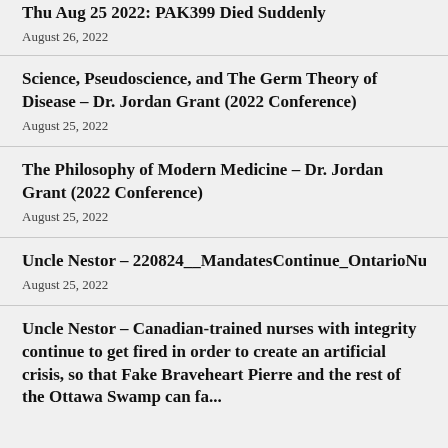Thu Aug 25 2022: PAK399 Died Suddenly
August 26, 2022
Science, Pseudoscience, and The Germ Theory of Disease – Dr. Jordan Grant (2022 Conference)
August 25, 2022
The Philosophy of Modern Medicine – Dr. Jordan Grant (2022 Conference)
August 25, 2022
Uncle Nestor – 220824__MandatesContinue_OntarioNurseFired
August 25, 2022
Uncle Nestor – Canadian-trained nurses with integrity continue to get fired in order to create an artificial crisis, so that Fake Braveheart Pierre and the rest of the Ottawa Swamp can fa...